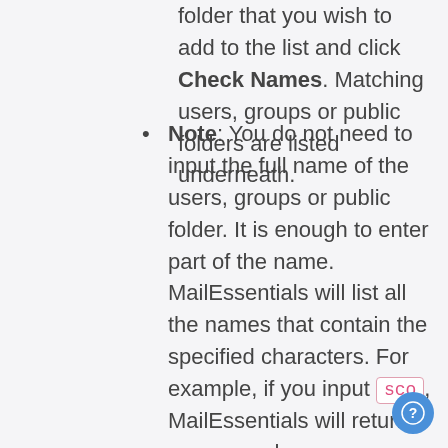folder that you wish to add to the list and click Check Names. Matching users, groups or public folders are listed underneath.
Note: You do not need to input the full name of the users, groups or public folder. It is enough to enter part of the name. MailEssentials will list all the names that contain the specified characters. For example, if you input sco , MailEssentials will return names such